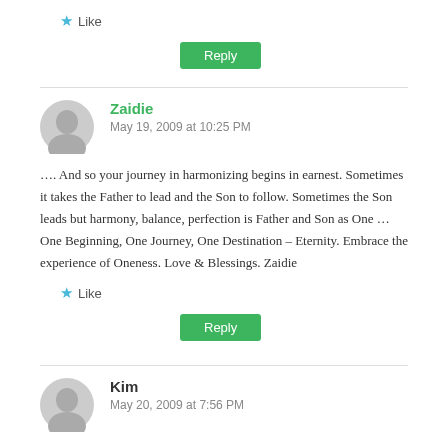★ Like
Reply
Zaidie
May 19, 2009 at 10:25 PM
…. And so your journey in harmonizing begins in earnest. Sometimes it takes the Father to lead and the Son to follow. Sometimes the Son leads but harmony, balance, perfection is Father and Son as One … One Beginning, One Journey, One Destination – Eternity. Embrace the experience of Oneness. Love & Blessings. Zaidie
★ Like
Reply
Kim
May 20, 2009 at 7:56 PM